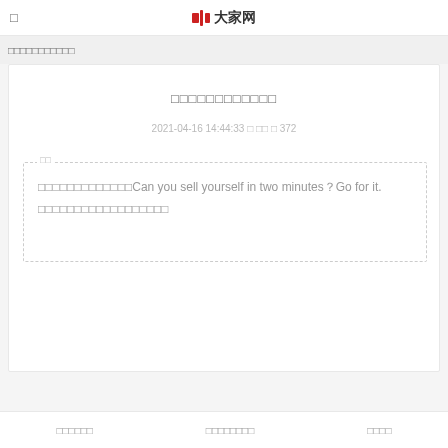□ 大家网
□□□□□□□□□□□
□□□□□□□□□□□□
2021-04-16 14:44:33 □ □□ □ 372
□□ □□□□□□□□□□□Can you sell yourself in two minutes？Go for it. □□□□□□□□□□□□□□□□□□
□□□□□□ □□□□□□□□ □□□□